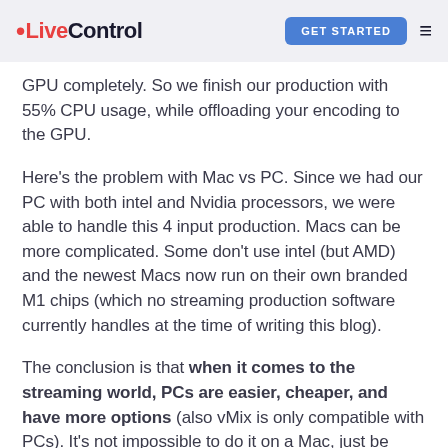•LiveControl  GET STARTED  ≡
GPU completely. So we finish our production with 55% CPU usage, while offloading your encoding to the GPU.
Here's the problem with Mac vs PC. Since we had our PC with both intel and Nvidia processors, we were able to handle this 4 input production. Macs can be more complicated. Some don't use intel (but AMD) and the newest Macs now run on their own branded M1 chips (which no streaming production software currently handles at the time of writing this blog).
The conclusion is that when it comes to the streaming world, PCs are easier, cheaper, and have more options (also vMix is only compatible with PCs). It's not impossible to do it on a Mac, just be prepared to have a $3,000+ machine.